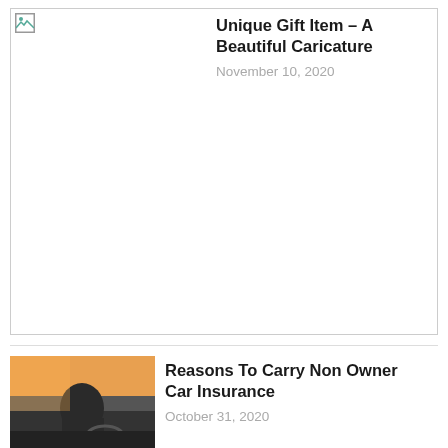[Figure (photo): Broken/missing image placeholder for article about caricature]
Unique Gift Item – A Beautiful Caricature
November 10, 2020
[Figure (photo): Photo of a man driving a convertible car from behind, sunny day]
Reasons To Carry Non Owner Car Insurance
October 31, 2020